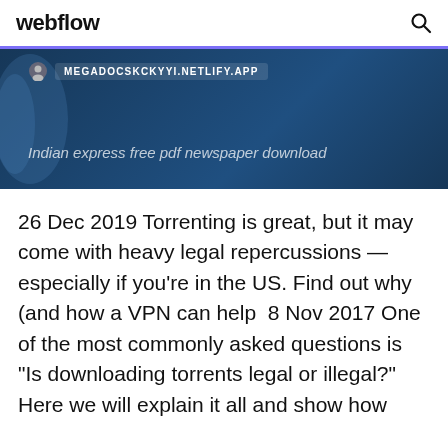webflow
[Figure (screenshot): Dark blue banner showing a browser URL bar with 'MEGADOCSKCKYYI.NETLIFY.APP' and text 'Indian express free pdf newspaper download']
26 Dec 2019 Torrenting is great, but it may come with heavy legal repercussions — especially if you're in the US. Find out why (and how a VPN can help  8 Nov 2017 One of the most commonly asked questions is "Is downloading torrents legal or illegal?" Here we will explain it all and show how